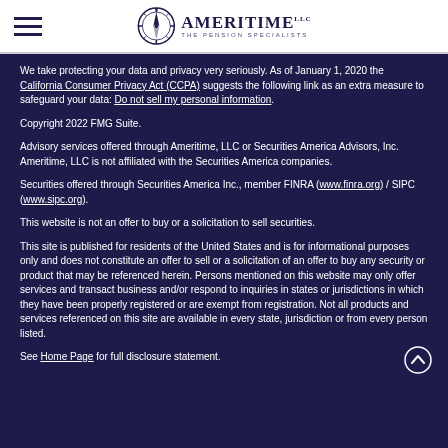Ameritime LLC – The Pension Specialists
We take protecting your data and privacy very seriously. As of January 1, 2020 the California Consumer Privacy Act (CCPA) suggests the following link as an extra measure to safeguard your data: Do not sell my personal information.
Copyright 2022 FMG Suite.
Advisory services offered through Ameritime, LLC or Securities America Advisors, Inc. Ameritime, LLC is not affiliated with the Securities America companies.
Securities offered through Securities America Inc., member FINRA (www.finra.org) / SIPC (www.sipc.org).
This website is not an offer to buy or a solicitation to sell securities.
This site is published for residents of the United States and is for informational purposes only and does not constitute an offer to sell or a solicitation of an offer to buy any security or product that may be referenced herein. Persons mentioned on this website may only offer services and transact business and/or respond to inquiries in states or jurisdictions in which they have been properly registered or are exempt from registration. Not all products and services referenced on this site are available in every state, jurisdiction or from every person listed.
See Home Page for full disclosure statement.